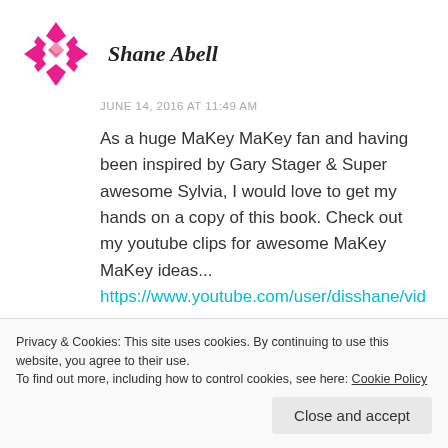Shane Abell
JUNE 14, 2016 AT 11:49 AM
As a huge MaKey MaKey fan and having been inspired by Gary Stager & Super awesome Sylvia, I would love to get my hands on a copy of this book. Check out my youtube clips for awesome MaKey MaKey ideas...
https://www.youtube.com/user/disshane/videos?shelf_id=0&view=0&sort=dd
Privacy & Cookies: This site uses cookies. By continuing to use this website, you agree to their use.
To find out more, including how to control cookies, see here: Cookie Policy
Close and accept